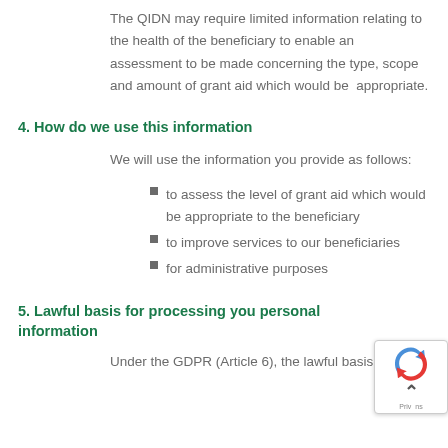The QIDN may require limited information relating to the health of the beneficiary to enable an assessment to be made concerning the type, scope and amount of grant aid which would be appropriate.
4. How do we use this information
We will use the information you provide as follows:
to assess the level of grant aid which would be appropriate to the beneficiary
to improve services to our beneficiaries
for administrative purposes
5. Lawful basis for processing you personal information
Under the GDPR (Article 6), the lawful basis